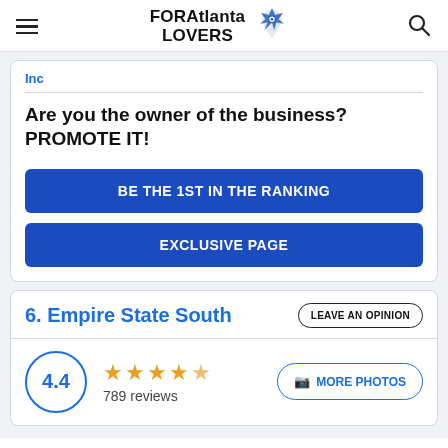FORAtlanta LOVERS
Inc
Are you the owner of the business? PROMOTE IT!
BE THE 1ST IN THE RANKING
EXCLUSIVE PAGE
6. Empire State South
4.4 — 789 reviews
MORE PHOTOS